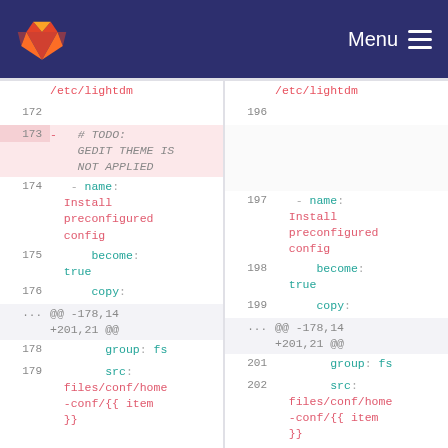GitLab navigation bar with logo and Menu
[Figure (screenshot): GitLab diff view showing two panels (left old, right new) of a YAML file. Left panel shows lines 172-180 with a deleted block (line 173) containing '# TODO: GEDIT THEME IS NOT APPLIED'. Right panel shows lines 196-203 with corresponding additions.]